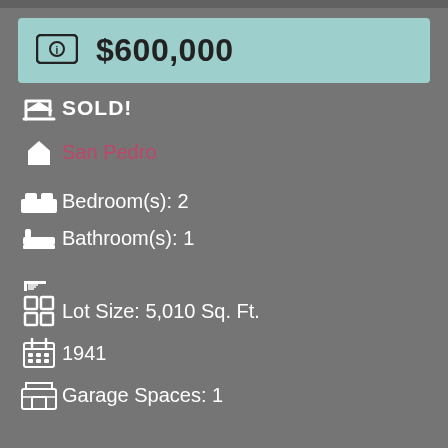$600,000
SOLD!
San Pedro
Bedroom(s): 2
Bathroom(s): 1
Lot Size: 5,010 Sq. Ft.
1941
Garage Spaces: 1